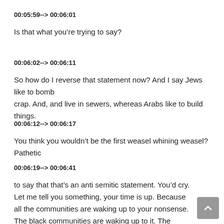00:05:59--> 00:06:01
Is that what you’re trying to say?
00:06:02--> 00:06:11
So how do I reverse that statement now? And I say Jews like to bomb crap. And, and live in sewers, whereas Arabs like to build things.
00:06:12--> 00:06:17
You think you wouldn’t be the first weasel whining weasel? Pathetic
00:06:19--> 00:06:41
to say that that’s an anti semitic statement. You’d cry. Let me tell you something, your time is up. Because all the communities are waking up to your nonsense. The black communities are waking up to it. The